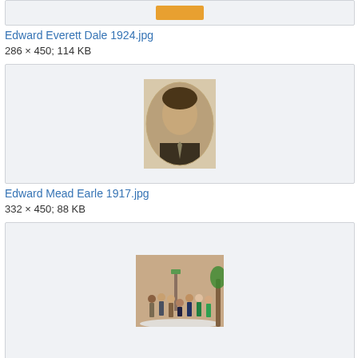[Figure (photo): Cropped top of image box showing partial orange button/thumbnail]
Edward Everett Dale 1924.jpg
286 × 450; 114 KB
[Figure (photo): Oval sepia portrait photo of a young man in suit and tie from 1917]
Edward Mead Earle 1917.jpg
332 × 450; 88 KB
[Figure (photo): Color group photo of several people standing outdoors near a tree and decorative structure]